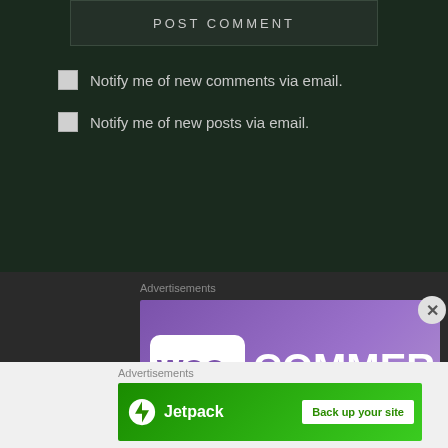POST COMMENT
Notify me of new comments via email.
Notify me of new posts via email.
Advertisements
[Figure (logo): WooCommerce logo on purple background]
Advertisements
[Figure (logo): Jetpack advertisement banner with green background and Back up your site button]